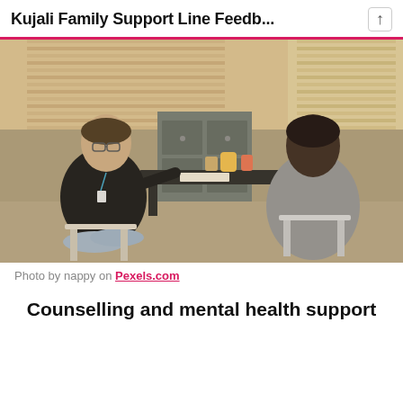Kujali Family Support Line Feedb...
[Figure (photo): Two men sitting across from each other at a table in conversation. One man wearing a black shirt with a lanyard/badge, the other in a grey jacket. Items on the table include drinks and papers. Background shows windows with blinds and metal filing cabinets.]
Photo by nappy on Pexels.com
Counselling and mental health support